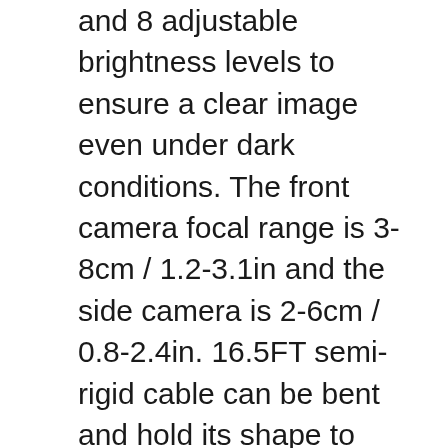and 8 adjustable brightness levels to ensure a clear image even under dark conditions. The front camera focal range is 3-8cm / 1.2-3.1in and the side camera is 2-6cm / 0.8-2.4in. 16.5FT semi-rigid cable can be bent and hold its shape to access a wide variety of narrow places and meet with different using needs.
《Helpful Accessories and Excellent Support》: DEPSTECH inspection camera package contents LCD digital endoscope (built-in 32GB TF Card), user manual, USB to Micro USB Cable, and a set of accessories (include a hook, magnet). We offer 24-hour professional and kind after-sales service and 24-month free warranty. If you have any questions, please feel